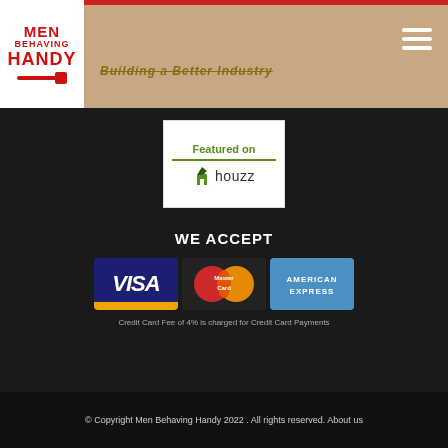[Figure (logo): Men Behaving Handy logo - red text on white background with wrench icon]
Building a Better Industry
[Figure (logo): Featured on Houzz badge - white box with green text and houzz logo]
WE ACCEPT
[Figure (illustration): Payment card logos: Visa, MasterCard, American Express]
Credit Card Fee of 4% is charged for Credit Card Payments
© Copyright Men Behaving Handy 2022 . All rights reserved. About us